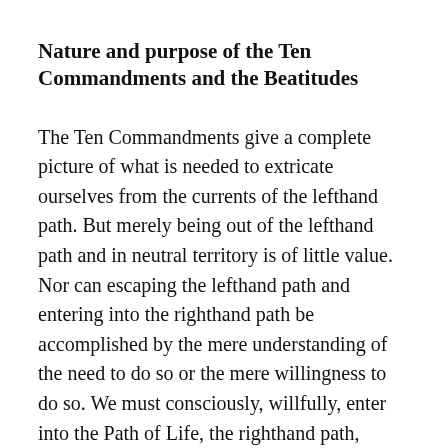Nature and purpose of the Ten Commandments and the Beatitudes
The Ten Commandments give a complete picture of what is needed to extricate ourselves from the currents of the lefthand path. But merely being out of the lefthand path and in neutral territory is of little value. Nor can escaping the lefthand path and entering into the righthand path be accomplished by the mere understanding of the need to do so or the mere willingness to do so. We must consciously, willfully, enter into the Path of Life, the righthand path,